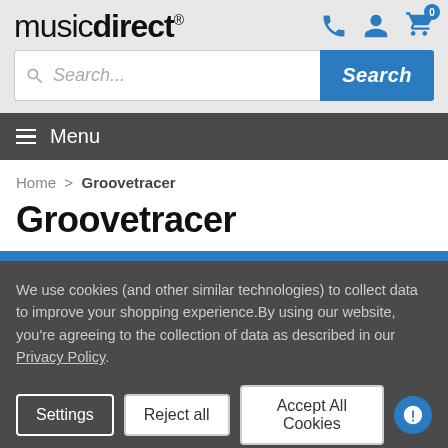musicdirect
Search...
Menu
Home > Groovetracer
Groovetracer
We use cookies (and other similar technologies) to collect data to improve your shopping experience.By using our website, you're agreeing to the collection of data as described in our Privacy Policy.
Settings  Reject all  Accept All Cookies